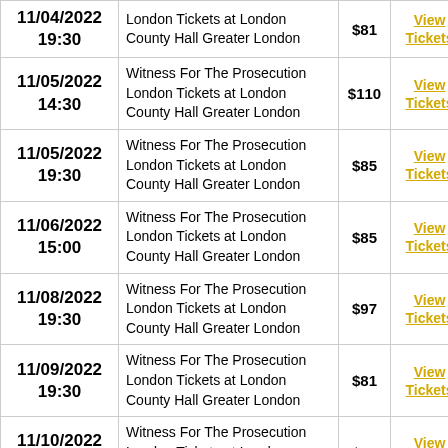| Date | Event | Price | Link |
| --- | --- | --- | --- |
| 11/04/2022 19:30 | London Tickets at London County Hall Greater London | $81 | View Tickets |
| 11/05/2022 14:30 | Witness For The Prosecution London Tickets at London County Hall Greater London | $110 | View Tickets |
| 11/05/2022 19:30 | Witness For The Prosecution London Tickets at London County Hall Greater London | $85 | View Tickets |
| 11/06/2022 15:00 | Witness For The Prosecution London Tickets at London County Hall Greater London | $85 | View Tickets |
| 11/08/2022 19:30 | Witness For The Prosecution London Tickets at London County Hall Greater London | $97 | View Tickets |
| 11/09/2022 19:30 | Witness For The Prosecution London Tickets at London County Hall Greater London | $81 | View Tickets |
| 11/10/2022 14:30 | Witness For The Prosecution London Tickets at London County Hall Greater London | $67 | View Tickets |
| 11/10/2022 ... | Witness For The Prosecution |  |  |